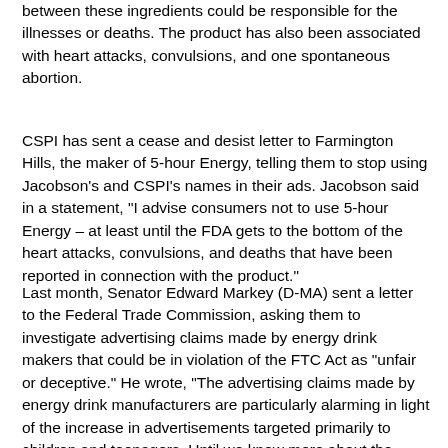between these ingredients could be responsible for the illnesses or deaths. The product has also been associated with heart attacks, convulsions, and one spontaneous abortion.
CSPI has sent a cease and desist letter to Farmington Hills, the maker of 5-hour Energy, telling them to stop using Jacobson's and CSPI's names in their ads. Jacobson said in a statement, "I advise consumers not to use 5-hour Energy – at least until the FDA gets to the bottom of the heart attacks, convulsions, and deaths that have been reported in connection with the product."
Last month, Senator Edward Markey (D-MA) sent a letter to the Federal Trade Commission, asking them to investigate advertising claims made by energy drink makers that could be in violation of the FTC Act as "unfair or deceptive." He wrote, "The advertising claims made by energy drink manufacturers are particularly alarming in light of the increase in advertisements targeted primarily to children and teenagers. Until we know more about the health impacts of these so-called energy drinks, it is inappropriate and may very well be dangerous to advertise them to children and teens."